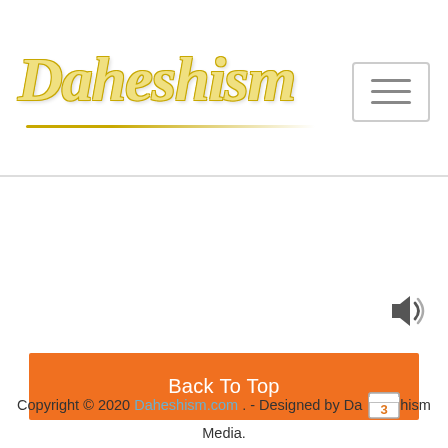[Figure (logo): Daheshism logo in cursive yellow/gold script with underline]
[Figure (other): Hamburger menu icon (three horizontal lines) in a bordered rectangle]
Back To Top
[Figure (other): Speaker/audio icon]
Copyright © 2020 Daheshism.com . - Designed by Daheshism Media.